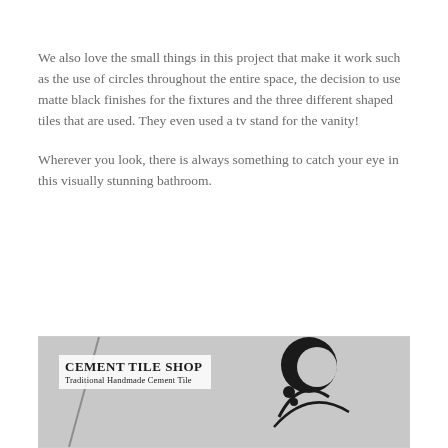We also love the small things in this project that make it work such as the use of circles throughout the entire space, the decision to use matte black finishes for the fixtures and the three different shaped tiles that are used. They even used a tv stand for the vanity!
Wherever you look, there is always something to catch your eye in this visually stunning bathroom.
[Figure (logo): Cement Tile Shop logo with text 'Traditional Handmade Cement Tile' and decorative circular black elements on grey background]